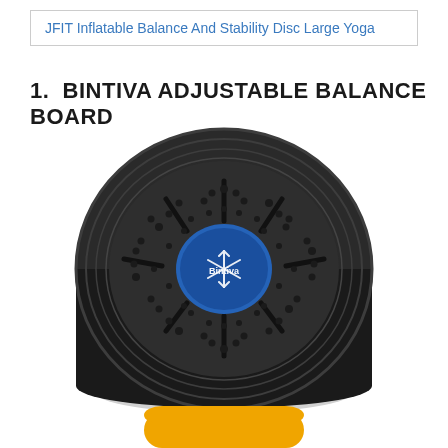JFIT Inflatable Balance And Stability Disc Large Yoga
1. BINTIVA ADJUSTABLE BALANCE BOARD
[Figure (photo): A circular black Bintiva adjustable balance board viewed from above at a slight angle. The board has a textured surface with raised dots, radial grooves/slots, and a concentric ring pattern near the edge. A blue circular center piece is visible with the Bintiva logo and a snowflake-like symbol. The board sits on a rounded base.]
[Figure (other): Partially visible orange/yellow rounded button at the bottom of the page]